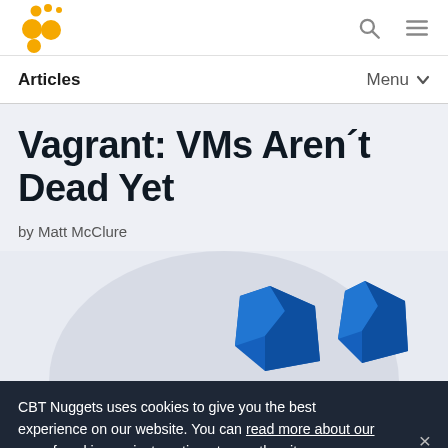CBT Nuggets — Articles | Menu
Vagrant: VMs Aren't Dead Yet
by Matt McClure
[Figure (illustration): CBT Nuggets article hero image showing blue 3D geometric shapes resembling the Vagrant logo on a light gray/blue background]
CBT Nuggets uses cookies to give you the best experience on our website. You can read more about our use of cookies, or just continue to use the site as you normally would if you agree.